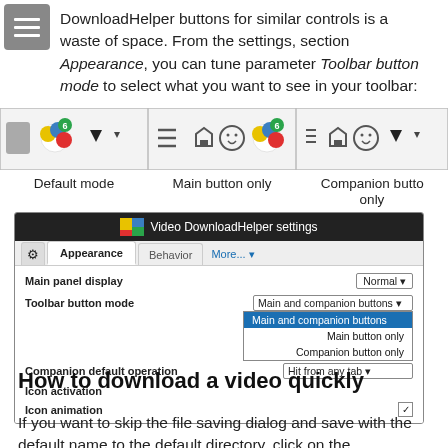DownloadHelper buttons for similar controls is a waste of space. From the settings, section Appearance, you can tune parameter Toolbar button mode to select what you want to see in your toolbar:
[Figure (screenshot): Toolbar screenshot showing Default mode, Main button only, and Companion button only options side by side]
[Figure (screenshot): Video DownloadHelper settings dialog showing Appearance tab with Toolbar button mode dropdown open, listing: Main and companion buttons (selected/highlighted), Main button only, Companion button only]
How to download a video quickly
If you want to skip the file saving dialog and save with the default name to the default directory, click on the